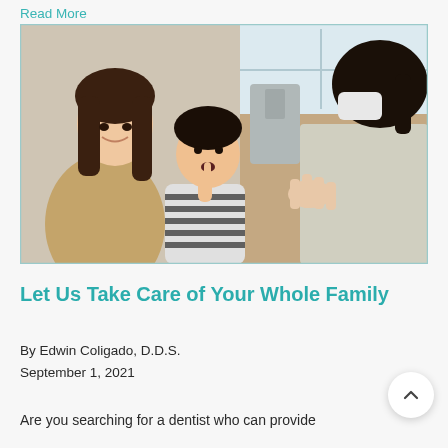Read More
[Figure (photo): A young child at a dental visit, mouth open, with their mother sitting beside them smiling, and a masked dental professional gesturing with their hand in the foreground.]
Let Us Take Care of Your Whole Family
By Edwin Coligado, D.D.S.
September 1, 2021
Are you searching for a dentist who can provide